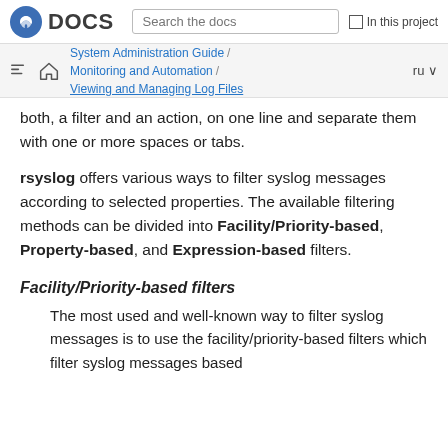DOCS | Search the docs | In this project
System Administration Guide / Monitoring and Automation / Viewing and Managing Log Files
both, a filter and an action, on one line and separate them with one or more spaces or tabs.
rsyslog offers various ways to filter syslog messages according to selected properties. The available filtering methods can be divided into Facility/Priority-based, Property-based, and Expression-based filters.
Facility/Priority-based filters
The most used and well-known way to filter syslog messages is to use the facility/priority-based filters which filter syslog messages based